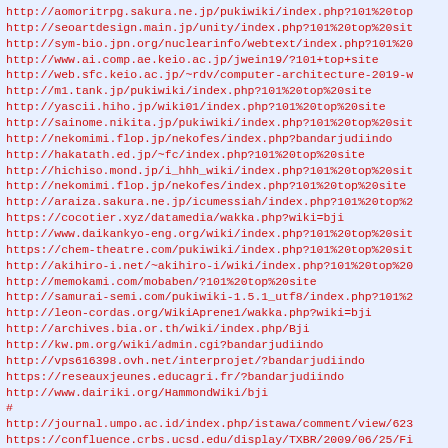http://aomoritrpg.sakura.ne.jp/pukiwiki/index.php?101%20top
http://seoartdesign.main.jp/unity/index.php?101%20top%20sit
http://sym-bio.jpn.org/nuclearinfo/webtext/index.php?101%20
http://www.ai.comp.ae.keio.ac.jp/jwein19/?101+top+site
http://web.sfc.keio.ac.jp/~rdv/computer-architecture-2019-w
http://m1.tank.jp/pukiwiki/index.php?101%20top%20site
http://yascii.hiho.jp/wiki01/index.php?101%20top%20site
http://sainome.nikita.jp/pukiwiki/index.php?101%20top%20sit
http://nekomimi.flop.jp/nekofes/index.php?bandarjudiindo
http://hakatath.ed.jp/~fc/index.php?101%20top%20site
http://hichiso.mond.jp/i_hhh_wiki/index.php?101%20top%20sit
http://nekomimi.flop.jp/nekofes/index.php?101%20top%20site
http://araiza.sakura.ne.jp/icumessiah/index.php?101%20top%2
https://cocotier.xyz/datamedia/wakka.php?wiki=bji
http://www.daikankyo-eng.org/wiki/index.php?101%20top%20sit
https://chem-theatre.com/pukiwiki/index.php?101%20top%20sit
http://akihiro-i.net/~akihiro-i/wiki/index.php?101%20top%20
http://memokami.com/mobaben/?101%20top%20site
http://samurai-semi.com/pukiwiki-1.5.1_utf8/index.php?101%2
http://leon-cordas.org/WikiAprene1/wakka.php?wiki=bji
http://archives.bia.or.th/wiki/index.php/Bji
http://kw.pm.org/wiki/admin.cgi?bandarjudiindo
http://vps616398.ovh.net/interprojet/?bandarjudiindo
https://reseauxjeunes.educagri.fr/?bandarjudiindo
http://www.dairiki.org/HammondWiki/bji
#
http://journal.umpo.ac.id/index.php/istawa/comment/view/623
https://confluence.crbs.ucsd.edu/display/TXBR/2009/06/25/Fi
https://jurnal.ustjogja.ac.id/index.php/spirit/comment/view
http://jurnal.untan.sbu.ac.id/index.php/dia/comment/vie